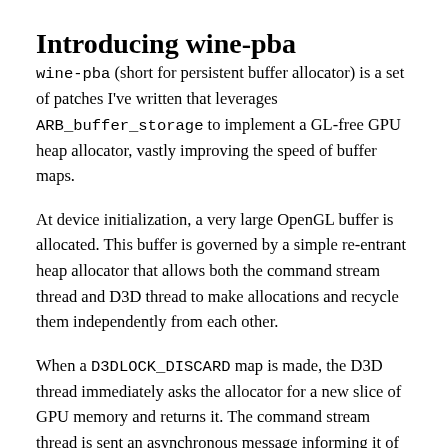Introducing wine-pba
wine-pba (short for persistent buffer allocator) is a set of patches I've written that leverages ARB_buffer_storage to implement a GL-free GPU heap allocator, vastly improving the speed of buffer maps.
At device initialization, a very large OpenGL buffer is allocated. This buffer is governed by a simple re-entrant heap allocator that allows both the command stream thread and D3D thread to make allocations and recycle them independently from each other.
When a D3DLOCK_DISCARD map is made, the D3D thread immediately asks the allocator for a new slice of GPU memory and returns it. The command stream thread is sent an asynchronous message informing it of the discard, with information on the new buffer location so that future draw commands on the command stream thread are aware. The